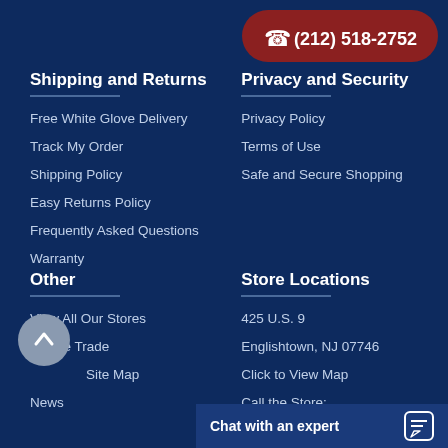[Figure (other): Phone button with number (212) 518-2752 in red rounded pill shape, top right]
Shipping and Returns
Free White Glove Delivery
Track My Order
Shipping Policy
Easy Returns Policy
Frequently Asked Questions
Warranty
Privacy and Security
Privacy Policy
Terms of Use
Safe and Secure Shopping
Other
View All Our Stores
To The Trade
Site Map
News
Store Locations
425 U.S. 9
Englishtown, NJ 07746
Click to View Map
Call the Store:
Chat with an expert